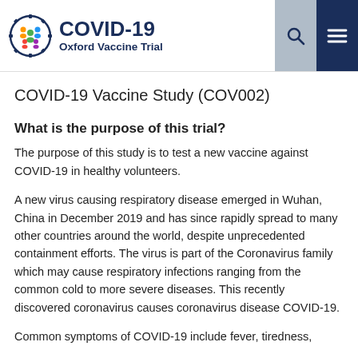COVID-19 Oxford Vaccine Trial
COVID-19 Vaccine Study (COV002)
What is the purpose of this trial?
The purpose of this study is to test a new vaccine against COVID-19 in healthy volunteers.
A new virus causing respiratory disease emerged in Wuhan, China in December 2019 and has since rapidly spread to many other countries around the world, despite unprecedented containment efforts. The virus is part of the Coronavirus family which may cause respiratory infections ranging from the common cold to more severe diseases. This recently discovered coronavirus causes coronavirus disease COVID-19.
Common symptoms of COVID-19 include fever, tiredness,